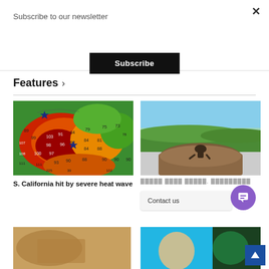Subscribe to our newsletter
Subscribe
Features >
[Figure (map): Weather heat map of Southern California showing temperature gradients in red, orange, yellow, and green with numerical temperature values overlaid]
S. California hit by severe heat wave
[Figure (photo): A statue or person sitting on a rocky hilltop overlooking a green landscape with blue sky]
redacted text, redacted...
[Figure (photo): Partial bottom-left image showing warm tones]
[Figure (photo): Partial bottom-right image showing blue and green tones]